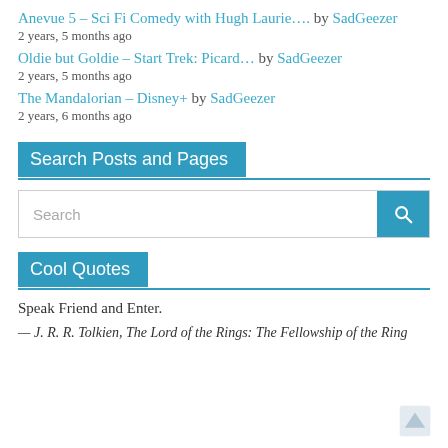Anevue 5 – Sci Fi Comedy with Hugh Laurie…. by SadGeezer
2 years, 5 months ago
Oldie but Goldie – Start Trek: Picard… by SadGeezer
2 years, 5 months ago
The Mandalorian – Disney+ by SadGeezer
2 years, 6 months ago
Search Posts and Pages
Search
Cool Quotes
Speak Friend and Enter.
— J. R. R. Tolkien, The Lord of the Rings: The Fellowship of the Ring